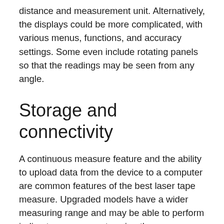distance and measurement unit. Alternatively, the displays could be more complicated, with various menus, functions, and accuracy settings. Some even include rotating panels so that the readings may be seen from any angle.
Storage and connectivity
A continuous measure feature and the ability to upload data from the device to a computer are common features of the best laser tape measure. Upgraded models have a wider measuring range and may be able to perform indirect measurements using the Pythagorean measurement feature, which keeps all data on the device safe.